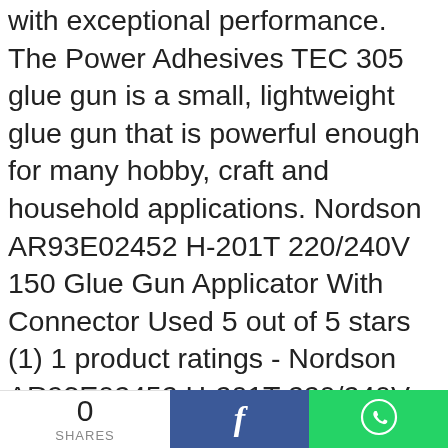with exceptional performance. The Power Adhesives TEC 305 glue gun is a small, lightweight glue gun that is powerful enough for many hobby, craft and household applications. Nordson AR93E02452 H-201T 220/240V 150 Glue Gun Applicator With Connector Used 5 out of 5 stars (1) 1 product ratings - Nordson AR93E02452 H-201T 220/240V 150 Glue Gun ... Farnell offers fast quotes, same day dispatch, fast delivery, wide inventory, datasheets & technical support. Fast and free shipping free returns cash on delivery available on eligible purchase. Heat guns | Stripping paint and varnish, shaping, welding and shrinking with hot air – heat guns from Bosch have
0 SHARES [Facebook share] [WhatsApp share]